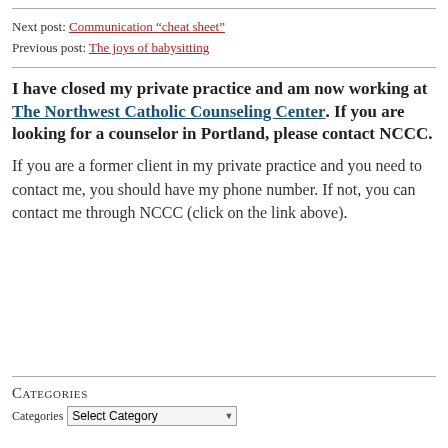Next post: Communication “cheat sheet”
Previous post: The joys of babysitting
I have closed my private practice and am now working at The Northwest Catholic Counseling Center. If you are looking for a counselor in Portland, please contact NCCC.
If you are a former client in my private practice and you need to contact me, you should have my phone number. If not, you can contact me through NCCC (click on the link above).
Categories
Categories  Select Category